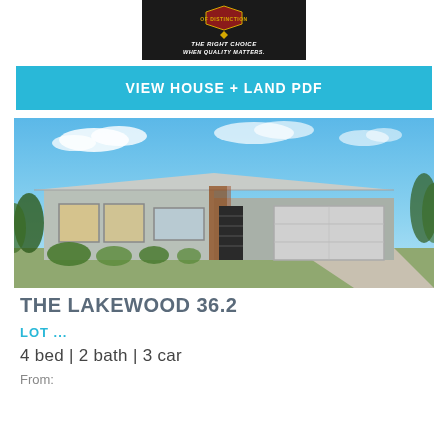[Figure (logo): Builder logo with dark background, gold text 'OF DISTINCTION' badge, and italic white text 'THE RIGHT CHOICE WHEN QUALITY MATTERS.']
VIEW HOUSE + LAND PDF
[Figure (photo): Exterior rendering of a modern single-storey house with skillion roof, double garage, and light grey/brown cladding under a blue sky with clouds.]
THE LAKEWOOD 36.2
LOT ...
4 bed | 2 bath | 3 car
From: